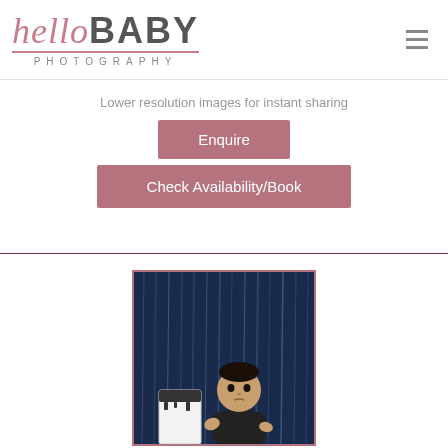[Figure (logo): Hello Baby Photography logo with script 'hello' in pink and bold 'BABY' in grey, with 'PHOTOGRAPHY' in spaced grey letters below, and a pink underline]
Lower resolution images for instant sharing
Enquire
Check Availability/Book
[Figure (photo): Baby sitting in front of a dark blue sparkly backdrop with a white cake with dark drips beside them]